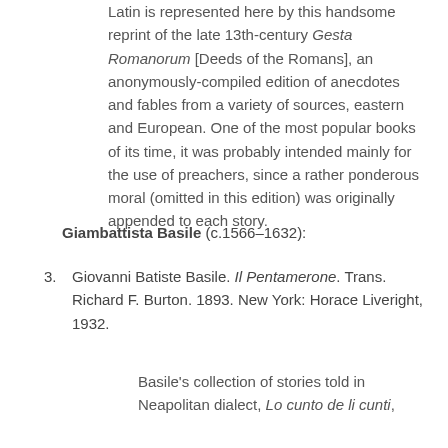Latin is represented here by this handsome reprint of the late 13th-century Gesta Romanorum [Deeds of the Romans], an anonymously-compiled edition of anecdotes and fables from a variety of sources, eastern and European. One of the most popular books of its time, it was probably intended mainly for the use of preachers, since a rather ponderous moral (omitted in this edition) was originally appended to each story.
Giambattista Basile (c.1566–1632):
Giovanni Batiste Basile. Il Pentamerone. Trans. Richard F. Burton. 1893. New York: Horace Liveright, 1932.
Basile's collection of stories told in Neapolitan dialect, Lo cunto de li cunti,